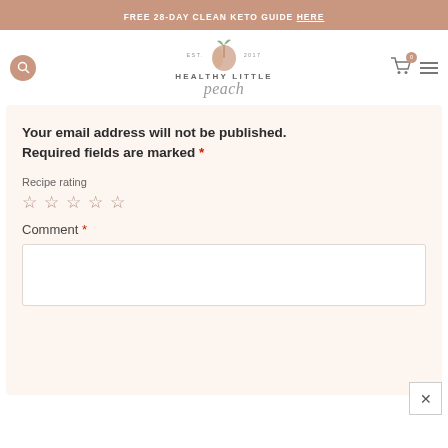FREE 28-DAY CLEAN KETO GUIDE HERE
[Figure (logo): Healthy Little Peach logo with peach illustration, EST. 2017]
Your email address will not be published. Required fields are marked *
Recipe rating
☆ ☆ ☆ ☆ ☆
Comment *